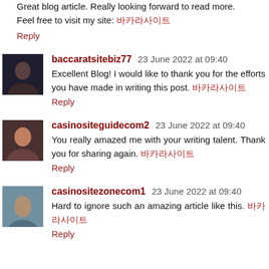Great blog article. Really looking forward to read more. Feel free to visit my site: 바카라사이트
Reply
baccaratsitebiz77  23 June 2022 at 09:40
Excellent Blog! I would like to thank you for the efforts you have made in writing this post. 바카라사이트
Reply
casinositeguidecom2  23 June 2022 at 09:40
You really amazed me with your writing talent. Thank you for sharing again. 바카라사이트
Reply
casinositezonecom1  23 June 2022 at 09:40
Hard to ignore such an amazing article like this. 바카라사이트
Reply